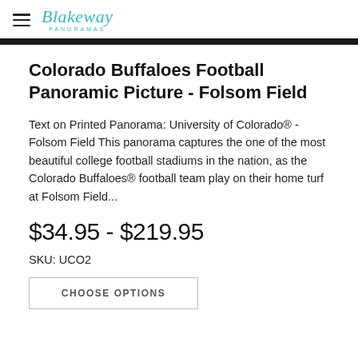Blakeway Panoramas
Colorado Buffaloes Football Panoramic Picture - Folsom Field
Text on Printed Panorama: University of Colorado® - Folsom Field This panorama captures the one of the most beautiful college football stadiums in the nation, as the Colorado Buffaloes® football team play on their home turf at Folsom Field...
$34.95 - $219.95
SKU: UCO2
CHOOSE OPTIONS